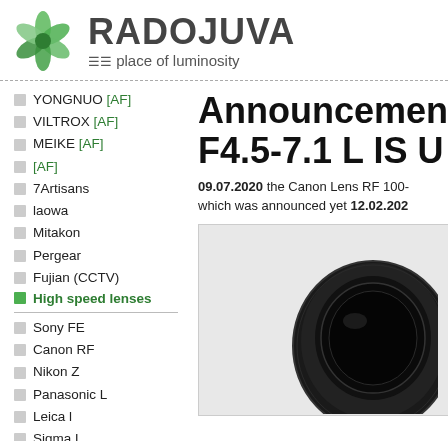[Figure (logo): Radojuva logo with green flower/leaf icon and site name RADOJUVA with subtitle 'place of luminosity']
Announcement F4.5-7.1 L IS U
09.07.2020 the Canon Lens RF 100- which was announced yet 12.02.202
YONGNUO [AF]
VILTROX [AF]
MEIKE [AF]
[AF]
7Artisans
laowa
Mitakon
Pergear
Fujian (CCTV)
High speed lenses
Sony FE
Canon RF
Nikon Z
Panasonic L
Leica l
Sigma L
Full Frame cameras
Sony E (APS-C)
FujiFilm X (APS-C)
[Figure (photo): Large black camera lens (Canon RF 100) shown from front, dark circular element visible, on light gray background]